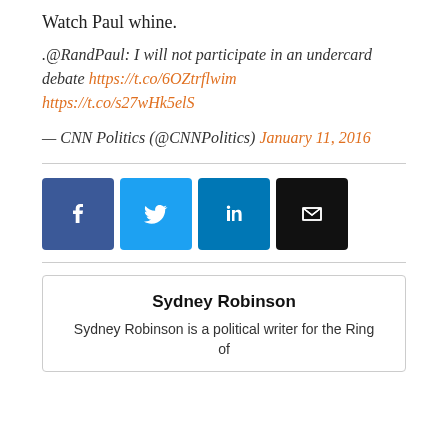Watch Paul whine.
.@RandPaul: I will not participate in an undercard debate https://t.co/6OZtrflwim https://t.co/s27wHk5elS
— CNN Politics (@CNNPolitics) January 11, 2016
[Figure (other): Social sharing buttons: Facebook, Twitter, LinkedIn, Email]
Sydney Robinson
Sydney Robinson is a political writer for the Ring of